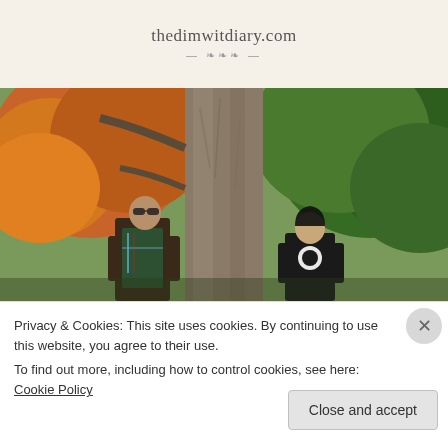thedimwitdiary.com
[Figure (photo): Two people standing on opposite sides of a large tree trunk in a park with autumn foliage. Left person wears a brown jacket and plaid shirt; right person wears a black hoodie. Trees show orange and green leaves.]
Privacy & Cookies: This site uses cookies. By continuing to use this website, you agree to their use.
To find out more, including how to control cookies, see here: Cookie Policy